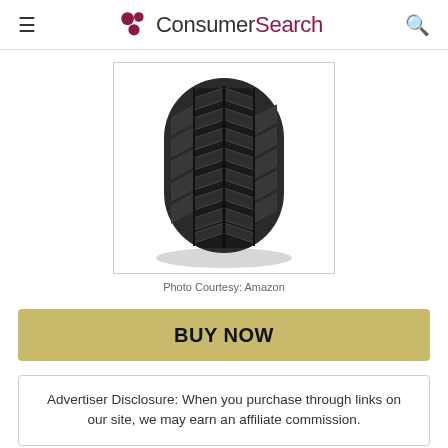ConsumerSearch
[Figure (photo): A single black winter/all-terrain tire standing upright, showing the tread pattern, on a white background.]
Photo Courtesy: Amazon
BUY NOW
Advertiser Disclosure: When you purchase through links on our site, we may earn an affiliate commission.